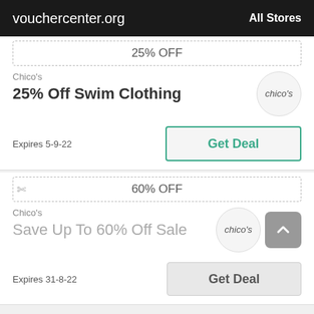vouchercenter.org   All Stores
25% OFF
Chico's
25% Off Swim Clothing
[Figure (logo): Chico's brand logo in circle]
Expires 5-9-22
Get Deal
60% OFF
Chico's
Save Up To 60% Off Sale
[Figure (logo): Chico's brand logo in circle]
Expires 31-8-22
Get Deal